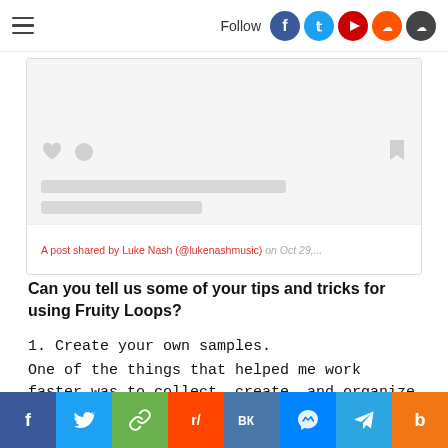Follow [social icons: Facebook, Twitter, YouTube, SoundCloud, Mixcloud]
[Figure (screenshot): Instagram embedded post card showing placeholder loading state with heart icon, circle icon, bookmark icon, two gray placeholder bars, and a red link 'A post shared by Luke Nash (@lukenashmusic) on Oct 29,...']
Can you tell us some of your tips and tricks for using Fruity Loops?
1. Create your own samples.
One of the things that helped me work faster was to collect, create, and organize the samples that I know I'll use in my
[Share buttons: Facebook, Twitter, Link, Reddit, VK, Messenger, Telegram, Buffer]